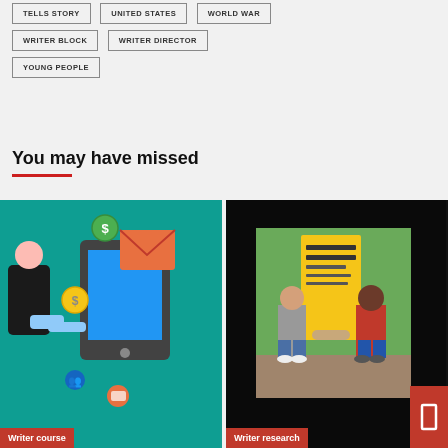TELLS STORY
UNITED STATES
WORLD WAR
WRITER BLOCK
WRITER DIRECTOR
YOUNG PEOPLE
You may have missed
[Figure (illustration): Illustration of a person with digital money/email icons on a teal background. Label reading 'Writer course' at bottom left.]
[Figure (photo): Photo of two people standing outdoors near a banner. Label reading 'Writer research' at bottom left, with red bookmark icon at bottom right.]